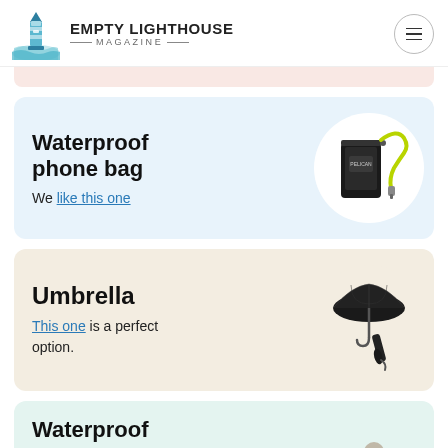Empty Lighthouse Magazine
[Figure (screenshot): Pink strip below header navigation tabs]
Waterproof phone bag
We like this one
[Figure (photo): Black waterproof phone bag with yellow-green lanyard on white circle background]
Umbrella
This one is a perfect option.
[Figure (photo): Black compact umbrella open and closed on beige circle background]
Waterproof